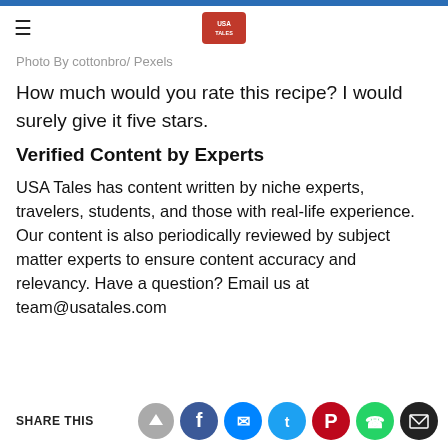USA Tales logo header with hamburger menu
Photo By cottonbro/ Pexels
How much would you rate this recipe? I would surely give it five stars.
Verified Content by Experts
USA Tales has content written by niche experts, travelers, students, and those with real-life experience. Our content is also periodically reviewed by subject matter experts to ensure content accuracy and relevancy. Have a question? Email us at team@usatales.com
SHARE THIS [social icons: Facebook, Messenger, Twitter, Pinterest, WhatsApp, Mail]